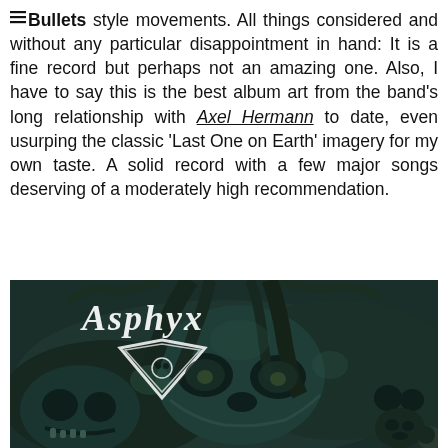Bullets style movements. All things considered and without any particular disappointment in hand: It is a fine record but perhaps not an amazing one. Also, I have to say this is the best album art from the band's long relationship with Axel Hermann to date, even usurping the classic 'Last One on Earth' imagery for my own taste. A solid record with a few major songs deserving of a moderately high recommendation.
[Figure (illustration): Album art for Asphyx — dark illustration featuring skulls, decaying faces, and gnarled trees in dark green and teal tones. The Asphyx band logo in gothic lettering with a diamond/triangle symbol is visible in the upper left corner.]